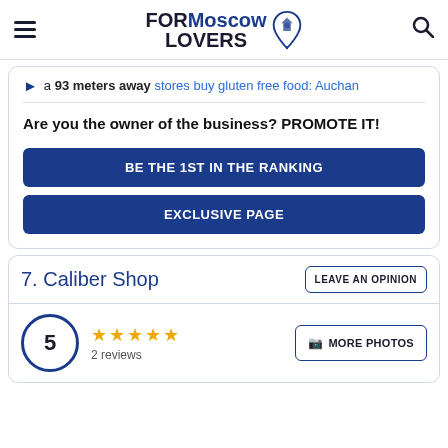FORMoscow LOVERS
a 93 meters away stores buy gluten free food: Auchan
Are you the owner of the business? PROMOTE IT!
BE THE 1ST IN THE RANKING
EXCLUSIVE PAGE
7. Caliber Shop
5
2 reviews